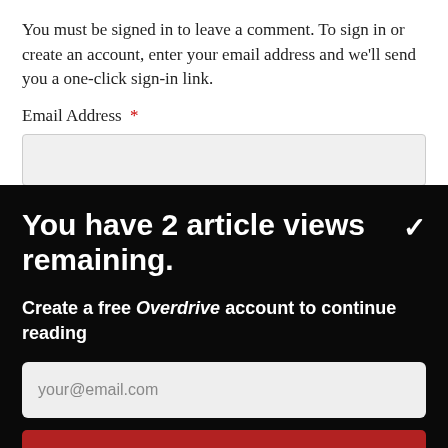You must be signed in to leave a comment. To sign in or create an account, enter your email address and we'll send you a one-click sign-in link.
Email Address *
You have 2 article views remaining.
Create a free Overdrive account to continue reading
your@email.com
CONTINUE